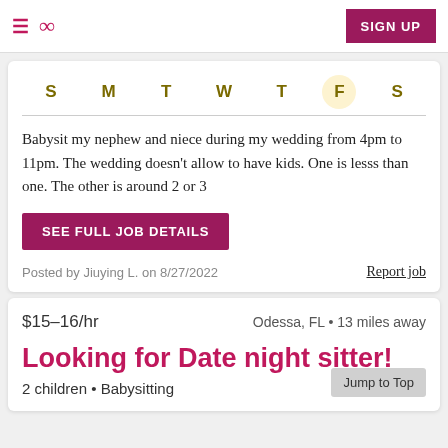≡ ∞  SIGN UP
S  M  T  W  T  F  S
Babysit my nephew and niece during my wedding from 4pm to 11pm. The wedding doesn't allow to have kids. One is lesss than one. The other is around 2 or 3
SEE FULL JOB DETAILS
Posted by Jiuying L. on 8/27/2022
Report job
$15–16/hr
Odessa, FL • 13 miles away
Looking for Date night sitter!
2 children • Babysitting
Jump to Top